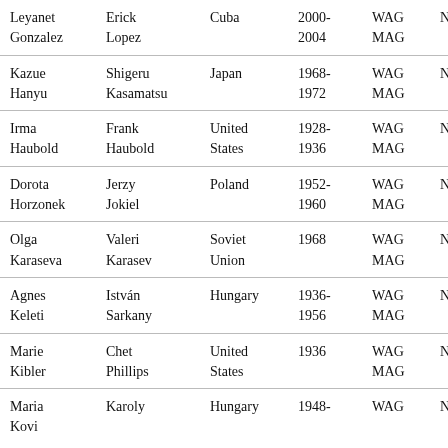| Athlete (F) | Athlete (M) | Country | Years | Events | Type |
| --- | --- | --- | --- | --- | --- |
| Leyanet Gonzalez | Erick Lopez | Cuba | 2000-2004 | WAG MAG | NDR |
| Kazue Hanyu | Shigeru Kasamatsu | Japan | 1968-1972 | WAG MAG | NDR |
| Irma Haubold | Frank Haubold | United States | 1928-1936 | WAG MAG | NDR |
| Dorota Horzonek | Jerzy Jokiel | Poland | 1952-1960 | WAG MAG | NDR |
| Olga Karaseva | Valeri Karasev | Soviet Union | 1968 | WAG MAG | NDR |
| Agnes Keleti | István Sarkany | Hungary | 1936-1956 | WAG MAG | NDR |
| Marie Kibler | Chet Phillips | United States | 1936 | WAG MAG | NDR |
| Maria Kovi | Karoly | Hungary | 1948- | WAG | NDR |